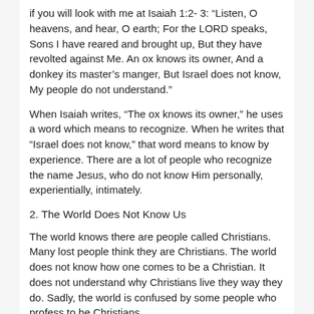if you will look with me at Isaiah 1:2- 3: “Listen, O heavens, and hear, O earth; For the LORD speaks, Sons I have reared and brought up, But they have revolted against Me. An ox knows its owner, And a donkey its master’s manger, But Israel does not know, My people do not understand.”
When Isaiah writes, “The ox knows its owner,” he uses a word which means to recognize. When he writes that “Israel does not know,” that word means to know by experience. There are a lot of people who recognize the name Jesus, who do not know Him personally, experientially, intimately.
2. The World Does Not Know Us
The world knows there are people called Christians. Many lost people think they are Christians. The world does not know how one comes to be a Christian. It does not understand why Christians live they way they do. Sadly, the world is confused by some people who profess to be Christians
A visitor left a church after one of the “faithful” members prayed. His mother, thinking he was ill, followed him out